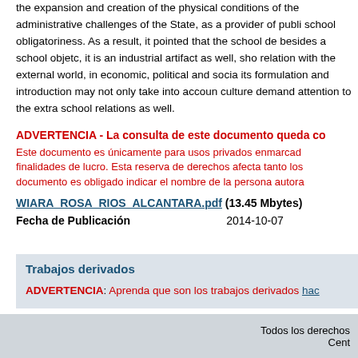the expansion and creation of the physical conditions of the administrative challenges of the State, as a provider of public school obligatoriness. As a result, it pointed that the school desk, besides a school objetc, it is an industrial artifact as well, showing relation with the external world, in economic, political and social; its formulation and introduction may not only take into account culture demand attention to the extra school relations as well.
ADVERTENCIA - La consulta de este documento queda co Este documento es únicamente para usos privados enmarcad finalidades de lucro. Esta reserva de derechos afecta tanto los documento es obligado indicar el nombre de la persona autora
WIARA_ROSA_RIOS_ALCANTARA.pdf (13.45 Mbytes)
Fecha de Publicación	2014-10-07
Trabajos derivados
ADVERTENCIA: Aprenda que son los trabajos derivados hac
Todos los derechos
Cent